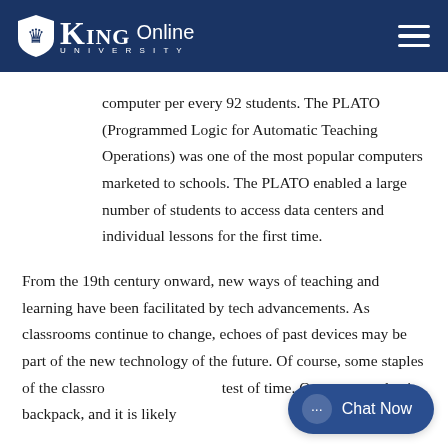KING University Online
computer per every 92 students. The PLATO (Programmed Logic for Automatic Teaching Operations) was one of the most popular computers marketed to schools. The PLATO enabled a large number of students to access data centers and individual lessons for the first time.
From the 19th century onward, new ways of teaching and learning have been facilitated by tech advancements. As classrooms continue to change, echoes of past devices may be part of the new technology of the future. Of course, some staples of the classroom have stood the test of time. Open any student's backpack, and it is likely